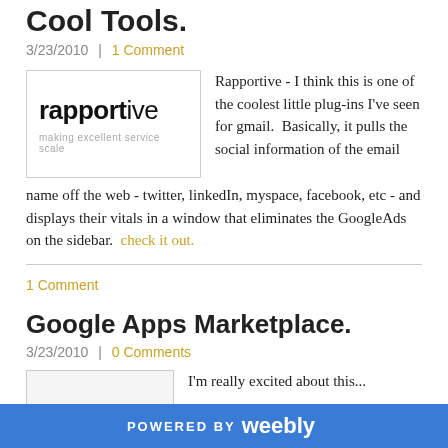Cool Tools.
3/23/2010 | 1 Comment
[Figure (logo): Rapportive logo: bold text 'rapportive' with tagline 'making excellent service scale']
Rapportive - I think this is one of the coolest little plug-ins I've seen for gmail.  Basically, it pulls the social information of the email name off the web - twitter, linkedIn, myspace, facebook, etc - and displays their vitals in a window that eliminates the GoogleAds on the sidebar.  check it out.
1 Comment
Google Apps Marketplace.
3/23/2010 | 0 Comments
I'm really excited about this...
POWERED BY weebly